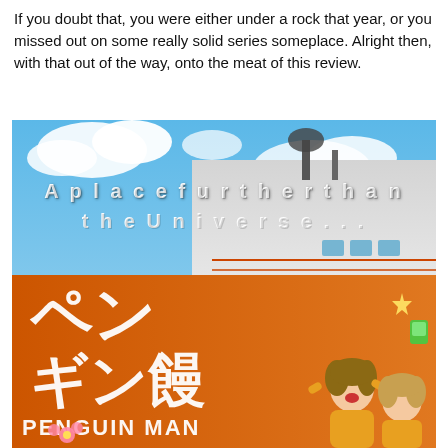If you doubt that, you were either under a rock that year, or you missed out on some really solid series someplace. Alright then, with that out of the way, onto the meat of this review.
[Figure (illustration): Anime promotional art for 'A Place Further Than the Universe' (Sora yori mo Tooi Basho). Features two animated girls in yellow jackets cheering in front of an orange ship hull marked 'PENGUIN MAN' with Japanese text. The sky is blue with clouds. White spaced-out text overlay reads 'A place further than the Universe...']